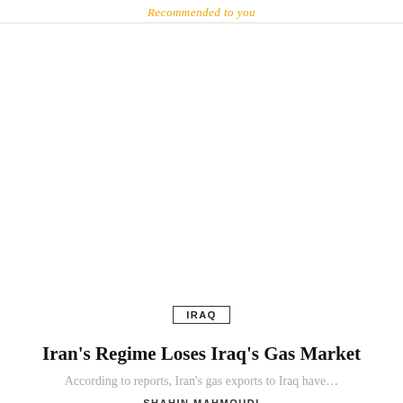Recommended to you
IRAQ
Iran's Regime Loses Iraq's Gas Market
According to reports, Iran's gas exports to Iraq have…
SHAHIN MAHMOUDI